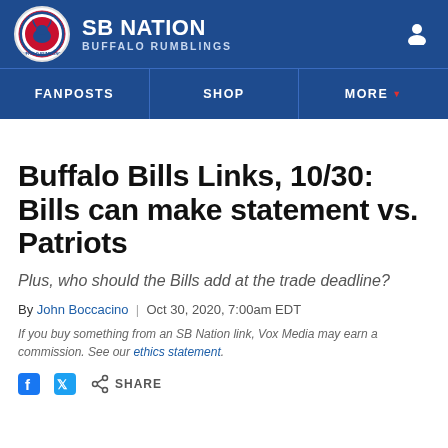SB Nation / Buffalo Rumblings
Buffalo Bills Links, 10/30: Bills can make statement vs. Patriots
Plus, who should the Bills add at the trade deadline?
By John Boccacino | Oct 30, 2020, 7:00am EDT
If you buy something from an SB Nation link, Vox Media may earn a commission. See our ethics statement.